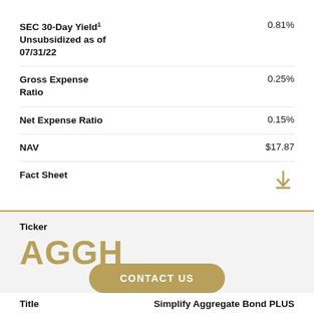SEC 30-Day Yield¹ Unsubsidized as of 07/31/22
Gross Expense Ratio
Net Expense Ratio
NAV
Fact Sheet
Ticker
AGGH
CONTACT US
Title